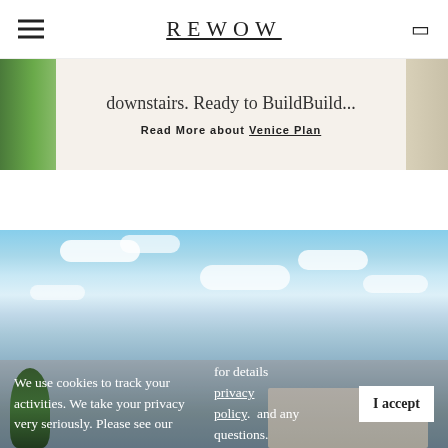REWOW
downstairs. Ready to BuildBuild...
Read More about Venice Plan
[Figure (photo): Blue sky with scattered white clouds and a partial view of a house exterior below]
We use cookies to track your activities. We take your privacy very seriously. Please see our for details privacy policy. and any questions.
I accept